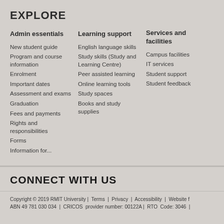EXPLORE
Admin essentials
New student guide
Program and course information
Enrolment
Important dates
Assessment and exams
Graduation
Fees and payments
Rights and responsibilities
Forms
Information for...
Learning support
English language skills
Study skills (Study and Learning Centre)
Peer assisted learning
Online learning tools
Study spaces
Books and study supplies
Services and facilities
Campus facilities
IT services
Student support
Student feedback
CONNECT WITH US
Copyright © 2019 RMIT University | Terms | Privacy | Accessibility | Website f... ABN 49 781 030 034 | CRICOS provider number: 00122A | RTO Code: 3046 |